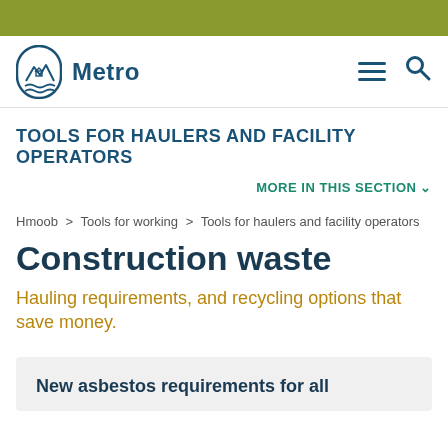[Figure (logo): Metro government logo with stylized mountain/wave icon and 'Metro' text, plus hamburger menu and search icons]
TOOLS FOR HAULERS AND FACILITY OPERATORS
MORE IN THIS SECTION ∨
Hmoob > Tools for working > Tools for haulers and facility operators
Construction waste
Hauling requirements, and recycling options that save money.
New asbestos requirements for all